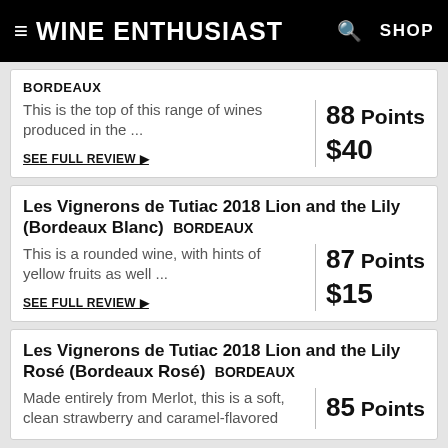Wine Enthusiast SHOP
BORDEAUX
This is the top of this range of wines produced in the ...
88 Points $40
SEE FULL REVIEW
Les Vignerons de Tutiac 2018 Lion and the Lily (Bordeaux Blanc) BORDEAUX
This is a rounded wine, with hints of yellow fruits as well ...
87 Points $15
SEE FULL REVIEW
Les Vignerons de Tutiac 2018 Lion and the Lily Rosé (Bordeaux Rosé) BORDEAUX
Made entirely from Merlot, this is a soft, clean strawberry and caramel-flavored
85 Points